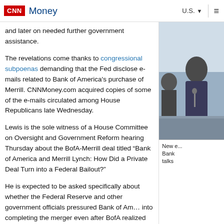CNN Money | U.S. ▼ ≡
and later on needed further government assistance.
The revelations come thanks to congressional subpoenas demanding that the Fed disclose e-mails related to Bank of America's purchase of Merrill. CNNMoney.com acquired copies of some of the e-mails circulated among House Republicans late Wednesday.
Lewis is the sole witness of a House Committee on Oversight and Government Reform hearing Thursday about the BofA-Merrill deal titled "Bank of America and Merrill Lynch: How Did a Private Deal Turn into a Federal Bailout?"
[Figure (photo): Photo of a man at what appears to be a congressional hearing, partially visible on right side of page]
New e... Bank talks
He is expected to be asked specifically about whether the Federal Reserve and other government officials pressured Bank of Am... into completing the merger even after BofA realized how badly Merrill L... would be.
The BofA-Merrill Lynch deal was valued at $50 billion when it was ann... the same day that Lehman Brothers declared bankruptcy. But the deal... billion after Bank of America's shares plunged in following months.